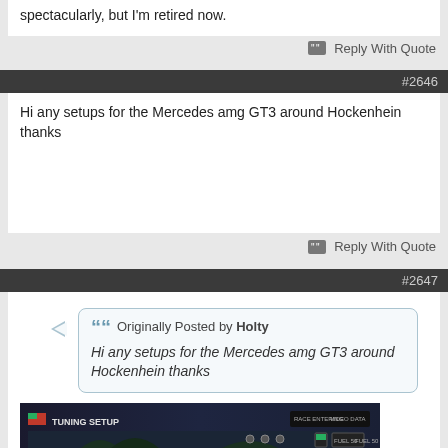spectacularly, but I'm retired now.
Reply With Quote
#2646
Hi any setups for the Mercedes amg GT3 around Hockenhein thanks
Reply With Quote
#2647
Originally Posted by Holty
Hi any setups for the Mercedes amg GT3 around Hockenhein thanks
[Figure (screenshot): Screenshot of a racing game tuning setup screen with dark background and HUD elements]